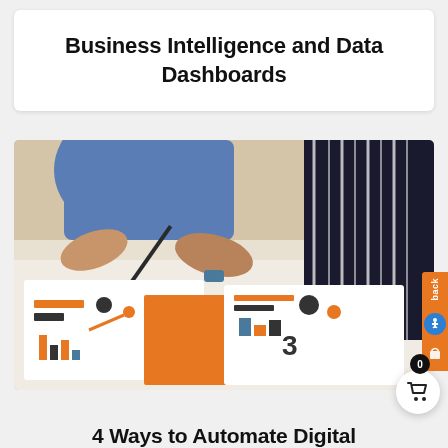Business Intelligence and Data Dashboards
[Figure (photo): Two people working at a table covered with printed data dashboards and charts with orange accents, one person holding a pencil pointing at the documents]
4 Ways to Automate Digital